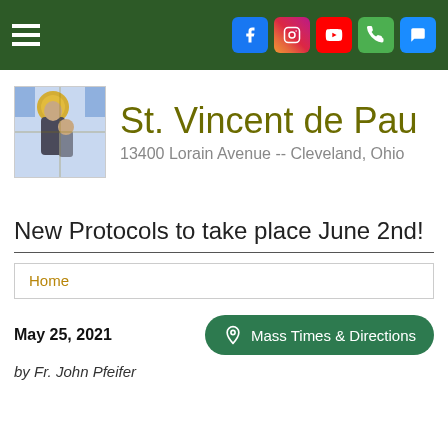St. Vincent de Paul — 13400 Lorain Avenue -- Cleveland, Ohio
New Protocols to take place June 2nd!
Home
May 25, 2021
Mass Times & Directions
by Fr. John Pfeifer